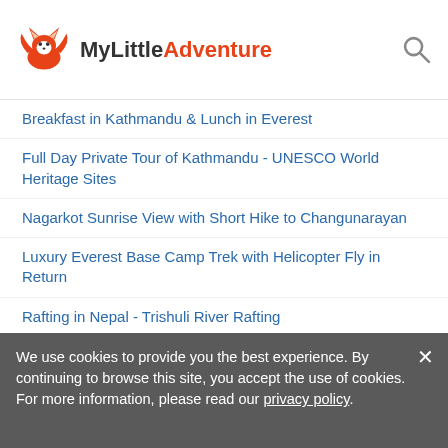MyLittle Adventure
Breakfast in Kathmandu & Lunch in Everest
Full Day Private Tour of Kathmandu - UNESCO World Heritage Sites
Nagarkot Sunrise View with Short Hike to Changunarayan
Luxury Everest Base Camp Trek with Helicopter Fly in Return
Rafting in Nepal - Trishuli River Rafting
1 Day Rickshaw Tour in Kathmandu
Daily Scenic Flight around Everest
Mount Everest Flight
Bhaktapur Day Tour
Everest Base Camp
Annapurna Base Camp Trekking
ANNAPURNA BASE CAMP TREK (11 DAYS) 1050USD
Gosaikunde Himalayan Trek 2020
We use cookies to provide you the best experience. By continuing to browse this site, you accept the use of cookies. For more information, please read our privacy policy.